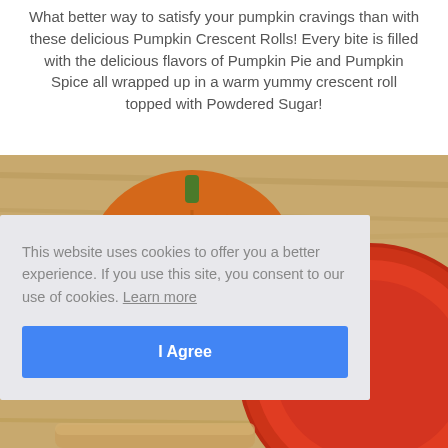What better way to satisfy your pumpkin cravings than with these delicious Pumpkin Crescent Rolls! Every bite is filled with the delicious flavors of Pumpkin Pie and Pumpkin Spice all wrapped up in a warm yummy crescent roll topped with Powdered Sugar!
[Figure (photo): Overhead photo of a small orange pumpkin and a red/orange ceramic bowl or plate on a wooden bamboo cutting board, with crescent roll visible at bottom edge.]
This website uses cookies to offer you a better experience. If you use this site, you consent to our use of cookies. Learn more
I Agree